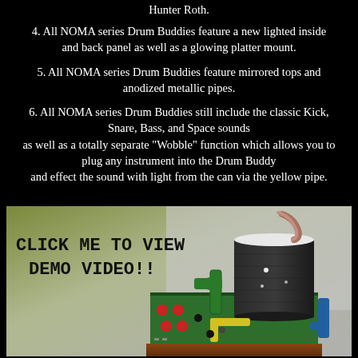Hunter Roth.
4. All NOMA series Drum Buddies feature a new lighted inside and back panel as well as a glowing platter mount.
5. All NOMA series Drum Buddies feature mirrored tops and anodized metallic pipes.
6. All NOMA series Drum Buddies still include the classic Kick, Snare, Bass, and Space sounds as well as a totally separate "Wobble" function which allows you to plug any instrument into the Drum Buddy and effect the sound with light from the can via the yellow pipe.
[Figure (photo): Photo of a Drum Buddy electronic instrument with a black cylindrical can on a green circuit board with colored pipes, text overlay reads CLICK ME TO VIEW DEMO VIDEO!!]